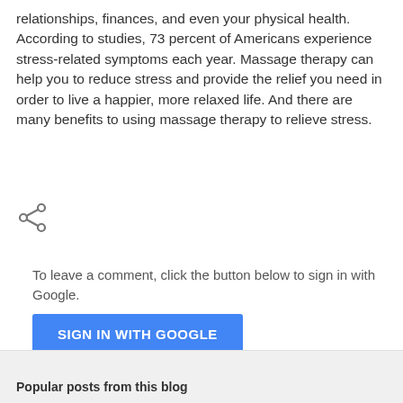relationships, finances, and even your physical health. According to studies, 73 percent of Americans experience stress-related symptoms each year. Massage therapy can help you to reduce stress and provide the relief you need in order to live a happier, more relaxed life. And there are many benefits to using massage therapy to relieve stress.
[Figure (other): Share icon (less-than style arrow with two circles)]
To leave a comment, click the button below to sign in with Google.
SIGN IN WITH GOOGLE
Popular posts from this blog